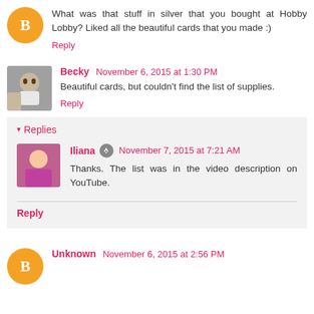What was that stuff in silver that you bought at Hobby Lobby? Liked all the beautiful cards that you made :)
Reply
Becky November 6, 2015 at 1:30 PM
Beautiful cards, but couldn't find the list of supplies.
Reply
Replies
Iliana November 7, 2015 at 7:21 AM
Thanks. The list was in the video description on YouTube.
Reply
Unknown November 6, 2015 at 2:56 PM